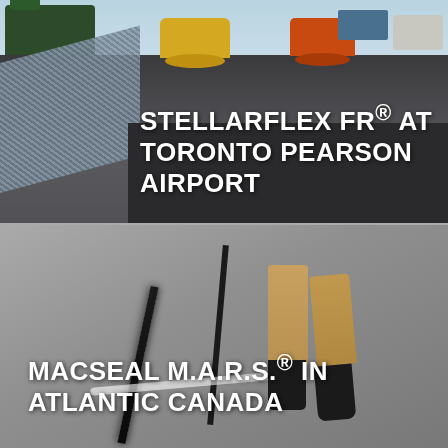[Figure (photo): Aerial view of airport tarmac paving operation at Toronto Pearson Airport. Green paving machine on left, yellow road roller in center, orange road roller on right, KLM airplane visible in background, white truck on far right. Fresh dark asphalt being laid. Diamond plate ramp visible in foreground left.]
STELLARFLEX FR® AT TORONTO PEARSON AIRPORT
[Figure (photo): Close-up photo of worker applying crack sealant on pavement in Atlantic Canada. Worker's legs visible in tan/khaki pants and black boots. Dark sealant line visible along crack in grey concrete pavement. Hose/applicator wand visible.]
MACSEAL M.A.R.S.® IN ATLANTIC CANADA